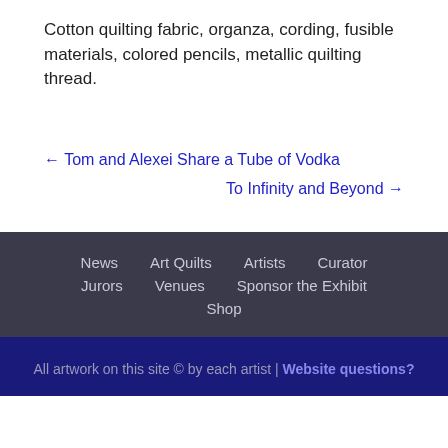Cotton quilting fabric, organza, cording, fusible materials, colored pencils, metallic quilting thread.
← Tom and Alexei Share a Tube of Vodka
To Infinity and Beyond →
News  Art Quilts  Artists  Curator  Jurors  Venues  Sponsor the Exhibit  Shop
All artwork on this site © by each artist | Website questions?